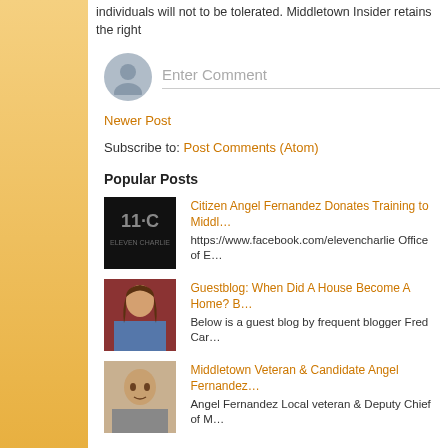individuals will not to be tolerated. Middletown Insider retains the right
[Figure (screenshot): Comment input field with avatar placeholder and 'Enter Comment' placeholder text]
Newer Post
Subscribe to: Post Comments (Atom)
Popular Posts
[Figure (photo): Eleven Charlie logo on dark background]
Citizen Angel Fernandez Donates Training to Midd…
https://www.facebook.com/elevencharlie Office of E…
[Figure (photo): Photo of person with long hair in blue shirt]
Guestblog: When Did A House Become A Home? B…
Below is a guest blog by frequent blogger Fred Car…
[Figure (photo): Photo of bald man]
Middletown Veteran & Candidate Angel Fernandez…
Angel Fernandez Local veteran & Deputy Chief of M…